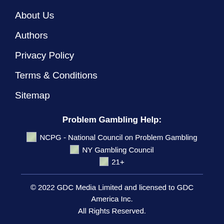About Us
Authors
Privacy Policy
Terms & Conditions
Sitemap
Problem Gambling Help:
[Figure (logo): NCPG - National Council on Problem Gambling logo with placeholder image icon]
[Figure (logo): NY Gambling Council logo with placeholder image icon]
[Figure (logo): 21+ logo with placeholder image icon]
© 2022 GDC Media Limited and licensed to GDC America Inc.
All Rights Reserved.